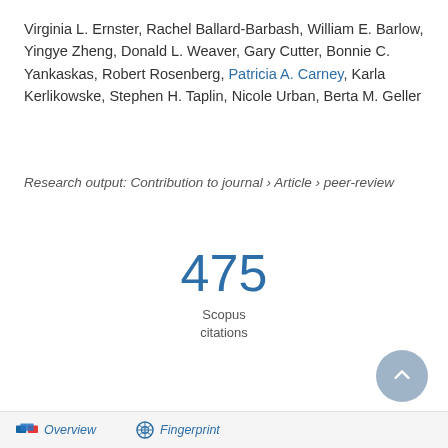Virginia L. Ernster, Rachel Ballard-Barbash, William E. Barlow, Yingye Zheng, Donald L. Weaver, Gary Cutter, Bonnie C. Yankaskas, Robert Rosenberg, Patricia A. Carney, Karla Kerlikowske, Stephen H. Taplin, Nicole Urban, Berta M. Geller
Research output: Contribution to journal › Article › peer-review
475 Scopus citations
Overview   Fingerprint